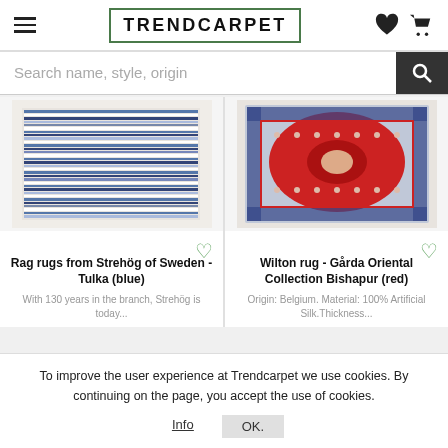TRENDCARPET
Search name, style, origin
[Figure (photo): Blue striped rag rug from Strehög of Sweden - Tulka (blue)]
Rag rugs from Strehög of Sweden - Tulka (blue)
With 130 years in the branch, Strehög is today...
[Figure (photo): Red oriental Wilton rug - Gårda Oriental Collection Bishapur (red)]
Wilton rug - Gårda Oriental Collection Bishapur (red)
Origin: Belgium. Material: 100% Artificial Silk.Thickness...
To improve the user experience at Trendcarpet we use cookies. By continuing on the page, you accept the use of cookies.